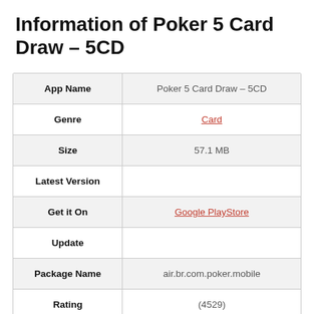Information of Poker 5 Card Draw – 5CD
|  |  |
| --- | --- |
| App Name | Poker 5 Card Draw – 5CD |
| Genre | Card |
| Size | 57.1 MB |
| Latest Version |  |
| Get it On | Google PlayStore |
| Update |  |
| Package Name | air.br.com.poker.mobile |
| Rating | (4529) |